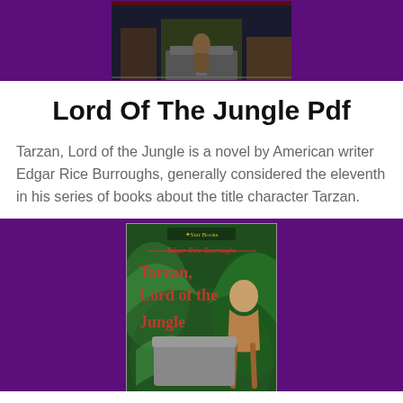[Figure (photo): Top banner image with purple background and a dark fantasy/jungle scene with a figure, shown in dark tones.]
Lord Of The Jungle Pdf
Tarzan, Lord of the Jungle is a novel by American writer Edgar Rice Burroughs, generally considered the eleventh in his series of books about the title character Tarzan.
[Figure (photo): Book cover for 'Tarzan, Lord of the Jungle' by Edgar Rice Burroughs, published by Star Books. Cover shows a jungle scene with a figure, text in red reads 'Edgar Rice Burroughs' and 'Tarzan, Lord of the Jungle'. Purple background banner surrounds the cover.]